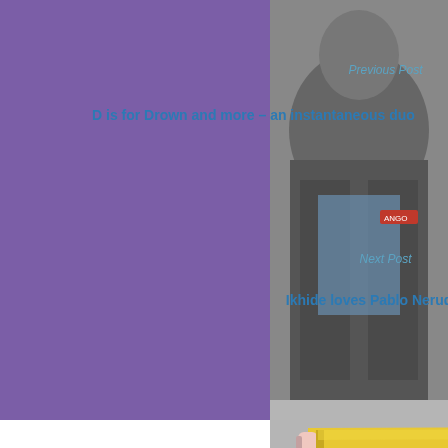Previous Post
D is for Drown and more – an instantaneous duo
Next Post
Ikhide loves Pablo Neruda
[Figure (illustration): Yellow pencil illustration on gray background]
Quite
[Figure (illustration): Airmail envelope border with blue and red/brown diagonal stripes on cream background]
Leave a Reply
Your email address will not be published. Required fields are marked *